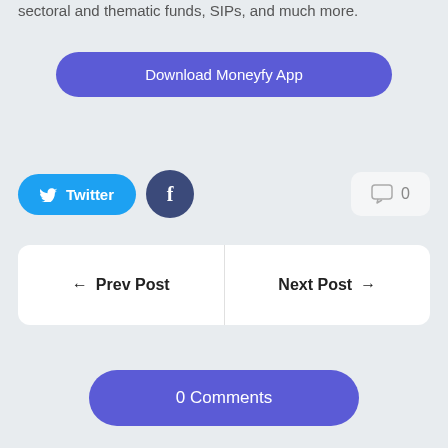sectoral and thematic funds, SIPs, and much more.
Download Moneyfy App
Twitter
f
0
← Prev Post
Next Post →
0 Comments